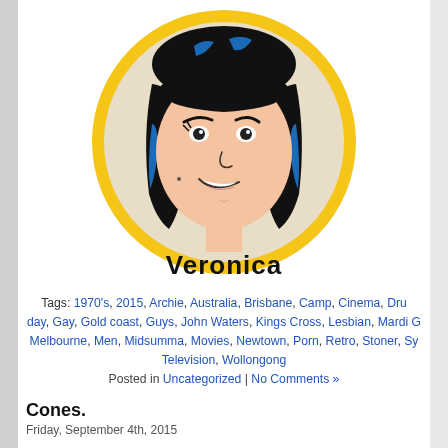[Figure (illustration): A circular badge/patch with a yellow border featuring the Archie Comics character Veronica. The character has black hair with blue highlights, smiling face, on a beige/cream background. The name 'Veronica' is printed in bold black letters at the bottom of the circle.]
Tags: 1970's, 2015, Archie, Australia, Brisbane, Camp, Cinema, Dining, Dru day, Gay, Gold coast, Guys, John Waters, Kings Cross, Lesbian, Mardi G Melbourne, Men, Midsumma, Movies, Newtown, Porn, Retro, Stoner, Sy Television, Wollongong
Posted in Uncategorized | No Comments »
Cones.
Friday, September 4th, 2015